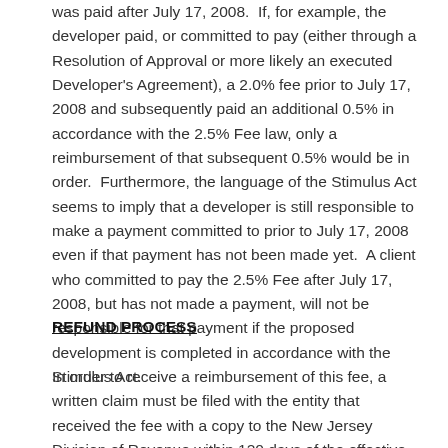was paid after July 17, 2008.  If, for example, the developer paid, or committed to pay (either through a Resolution of Approval or more likely an executed Developer's Agreement), a 2.0% fee prior to July 17, 2008 and subsequently paid an additional 0.5% in accordance with the 2.5% Fee law, only a reimbursement of that subsequent 0.5% would be in order.  Furthermore, the language of the Stimulus Act seems to imply that a developer is still responsible to make a payment committed to prior to July 17, 2008 even if that payment has not been made yet.  A client who committed to pay the 2.5% Fee after July 17, 2008, but has not made a payment, will not be responsible for that payment if the proposed development is completed in accordance with the Stimulus Act.
REFUND PROCESS
In order to receive a reimbursement of this fee, a written claim must be filed with the entity that received the fee with a copy to the New Jersey Division of Revenue within 120 days of the effective date of this Act.  We understand the last